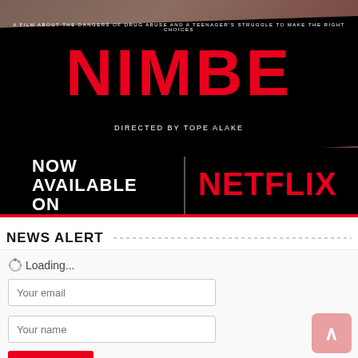[Figure (photo): Movie poster for NIMBE directed by Tope Alake, showing the film title in large red letters on a black brushstroke background, with subtitle 'A film about the dangers of drug abuse and a teenager's struggle to make the right choices'. Bottom section shows 'NOW AVAILABLE ON NETFLIX' text on black background.]
NEWS ALERT
Loading...
Your email
Your name